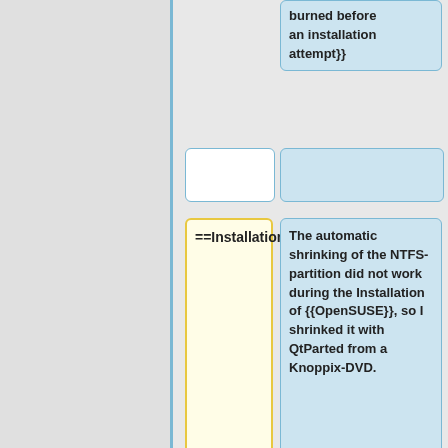burned before an installation attempt}}
==Installation==
The automatic shrinking of the NTFS-partition did not work during the Installation of {{OpenSUSE}}, so I shrinked it with QtParted from a Knoppix-DVD.
To be able to...
[Figure (screenshot): infolinks advertisement bar at bottom of page]
Frontgate SALES
20% off sitewide plus free shipping from August 19-22
frontgate.com